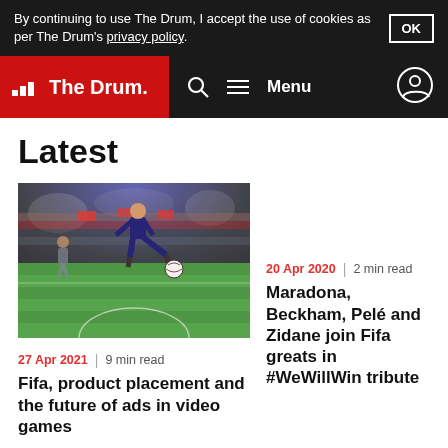By continuing to use The Drum, I accept the use of cookies as per The Drum's privacy policy.
The Drum — Menu
Latest
[Figure (photo): A soccer player kicking a ball on a green field with stadium crowd in background, dramatic lighting]
27 Apr 2021 | 9 min read
Fifa, product placement and the future of ads in video games
20 Apr 2020 | 2 min read
Maradona, Beckham, Pelé and Zidane join Fifa greats in #WeWillWin tribute